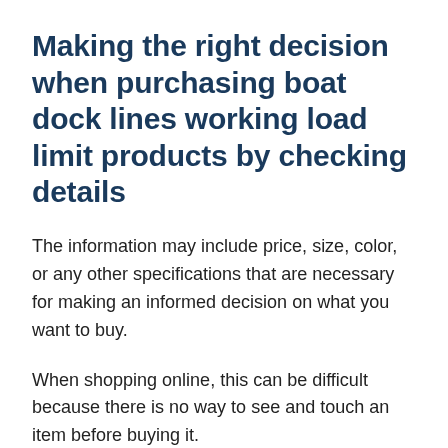Making the right decision when purchasing boat dock lines working load limit products by checking details
The information may include price, size, color, or any other specifications that are necessary for making an informed decision on what you want to buy.
When shopping online, this can be difficult because there is no way to see and touch an item before buying it.
The success of shopping boat dock lines working...